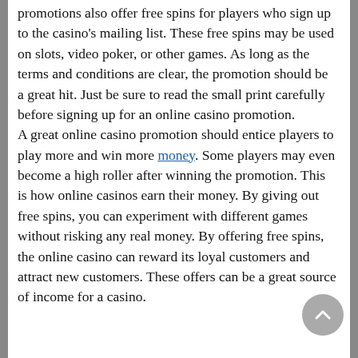promotions also offer free spins for players who sign up to the casino's mailing list. These free spins may be used on slots, video poker, or other games. As long as the terms and conditions are clear, the promotion should be a great hit. Just be sure to read the small print carefully before signing up for an online casino promotion. A great online casino promotion should entice players to play more and win more money. Some players may even become a high roller after winning the promotion. This is how online casinos earn their money. By giving out free spins, you can experiment with different games without risking any real money. By offering free spins, the online casino can reward its loyal customers and attract new customers. These offers can be a great source of income for a casino.